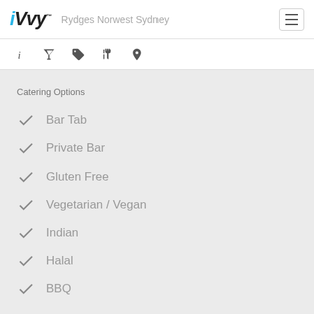iVvy — Rydges Norwest Sydney
Catering Options
Bar Tab
Private Bar
Gluten Free
Vegetarian / Vegan
Indian
Halal
BBQ